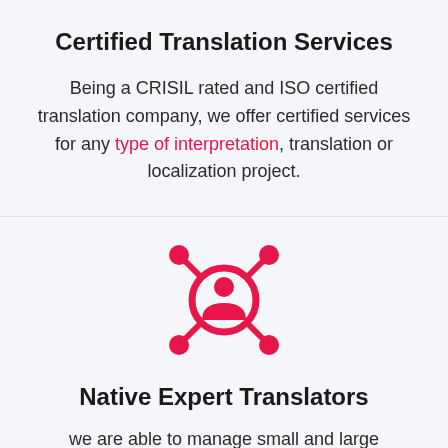Certified Translation Services
Being a CRISIL rated and ISO certified translation company, we offer certified services for any type of interpretation, translation or localization project.
[Figure (illustration): Red icon of a person silhouette inside a circle with four connecting nodes at the corners, representing a network of translators.]
Native Expert Translators
we are able to manage small and large translation projects. We believe that no